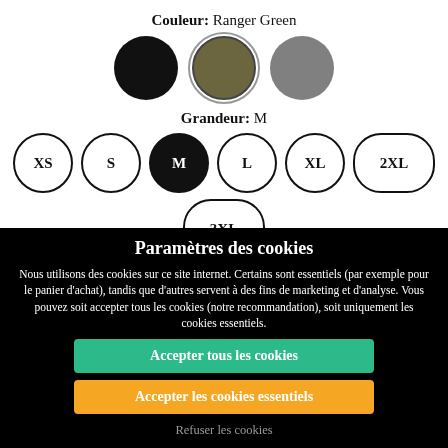Couleur: Ranger Green
[Figure (illustration): Three color swatches: black circle, ranger green circle (selected with outline), gray circle]
Grandeur: M
[Figure (illustration): Size selector buttons: XS, S, M (selected/filled black), L, XL, 2XL in a row, then 3XL below]
Paramètres des cookies
Nous utilisons des cookies sur ce site internet. Certains sont essentiels (par exemple pour le panier d'achat), tandis que d'autres servent à des fins de marketing et d'analyse. Vous pouvez soit accepter tous les cookies (notre recommandation), soit uniquement les cookies essentiels.
Accepter tous les cookies
Accepter les cookies essentiels
Refuser les cookies